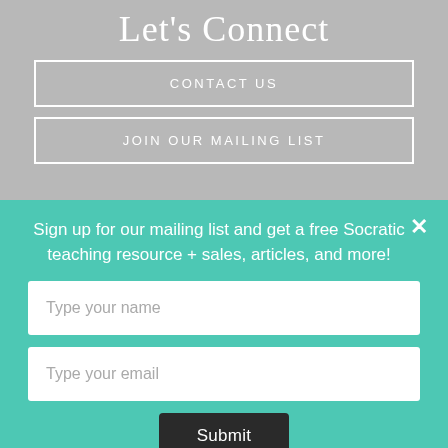Let's Connect
CONTACT US
JOIN OUR MAILING LIST
Sign up for our mailing list and get a free Socratic teaching resource + sales, articles, and more!
Type your name
Type your email
Submit